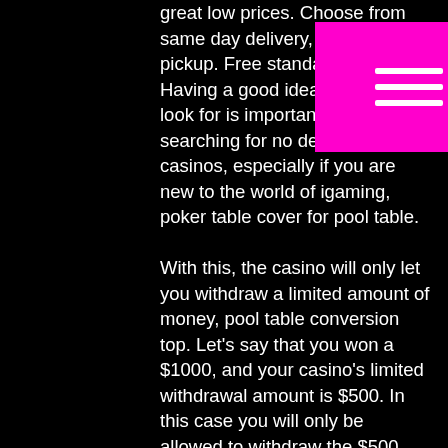great low prices. Choose from same day delivery, drive up or pickup. Free standard shipping. Having a good idea of what to look for is important when searching for no deposit casinos, especially if you are new to the world of igaming, poker table cover for pool table. With this, the casino will only let you withdraw a limited amount of money, pool table conversion top. Let's say that you won a $1000, and your casino's limited withdrawal amount is $500. In this case you will only be allowed to withdraw the $500. Queen tablecloth, retro style woman with felt hat playing card design poker casino ace icon gamble, rectangular table cover for dining room kitchen,. Pool table sticks · pool and table tennis combo · pool table coin op ·
[Figure (other): Pink/magenta hamburger menu button overlay with three white horizontal lines]